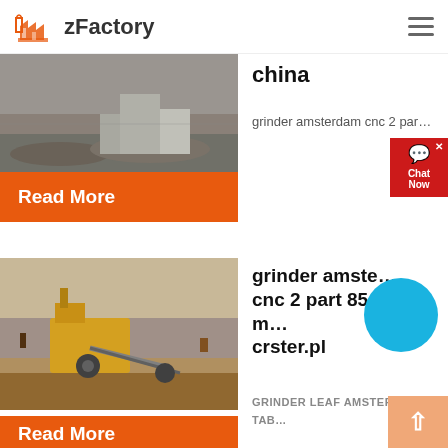zFactory
china
grinder amsterdam cnc 2 par…
Read More
grinder amste… cnc 2 part 85 m… crster.pl
GRINDER LEAF AMSTERDAM TAB…
Read More